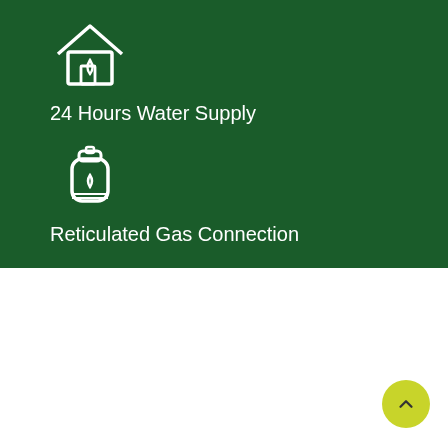[Figure (illustration): White outline icon of a house with water drop on dark green background]
24 Hours Water Supply
[Figure (illustration): White outline icon of a gas cylinder/canister on dark green background]
Reticulated Gas Connection
Apartment Floor Plans
Typical Floor Plan